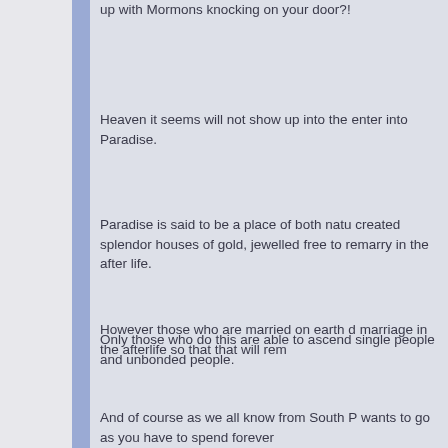up with Mormons knocking on your door?!
Heaven it seems will not show up into the enter into Paradise.
Paradise is said to be a place of both natu created splendor houses of gold, jewelled free to remarry in the after life.
However those who are married on earth d marriage in the afterlife so that that will rem
Only those who do this are able to ascend single people and unbonded people.
And of course as we all know from South P wants to go as you have to spend forever